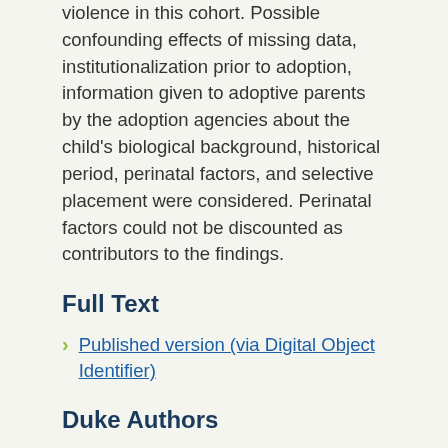violence in this cohort. Possible confounding effects of missing data, institutionalization prior to adoption, information given to adoptive parents by the adoption agencies about the child's biological background, historical period, perinatal factors, and selective placement were considered. Perinatal factors could not be discounted as contributors to the findings.
Full Text
Published version (via Digital Object Identifier)
Duke Authors
Moffitt, Terrie E.
Cited Authors
Moffitt, TE